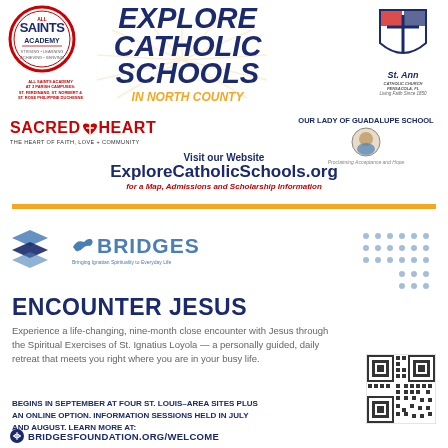[Figure (logo): All Saints Academy circular logo with red border, blue text reading ALL SAINTS ACADEMY with red and blue text inside]
EXPLORE CATHOLIC SCHOOLS IN NORTH COUNTY
[Figure (logo): St. Ann Catholic Church logo with shield/cross design and 'Living Faith Since 1850' tagline]
[Figure (logo): Sacred Heart logo in red uppercase text with 'THE HEART OF FAITH, LOVE + COMMUNITY' tagline]
[Figure (logo): Our Lady of Guadalupe School logo with small circular image and 'Proclaiming Acceptance and Hope' tagline]
Visit our Website
ExploreCatholicSchools.org
for a Map, Admissions and Scholarship Information
[Figure (logo): Blue chevron/arrow logo (Bridges partner organization)]
[Figure (logo): BRIDGES logo with dove icon and tagline 'Bringing Ignatian Spirituality to Everyday Life']
ENCOUNTER JESUS
Experience a life-changing, nine-month close encounter with Jesus through the Spiritual Exercises of St. Ignatius Loyola — a personally guided, daily retreat that meets you right where you are in your busy life.
BEGINS IN SEPTEMBER AT FOUR ST. LOUIS-AREA SITES PLUS AN ONLINE OPTION. INFORMATION SESSIONS HELD IN JULY AND AUGUST. LEARN MORE AT:
[Figure (other): QR code linking to Bridges Foundation website]
BRIDGESFOUNDATION.ORG/WELCOME